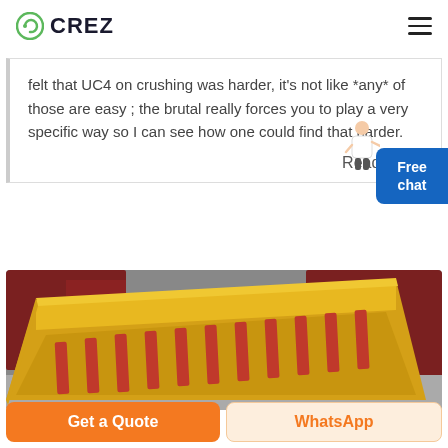CREZ
felt that UC4 on crushing was harder, it's not like *any* of those are easy ; the brutal really forces you to play a very specific way so I can see how one could find that harder.
Read Mo...
[Figure (photo): Industrial yellow metal vibrating feeder trough with red slats/bars inside, photographed in a factory setting with red machinery in background]
Get a Quote | WhatsApp